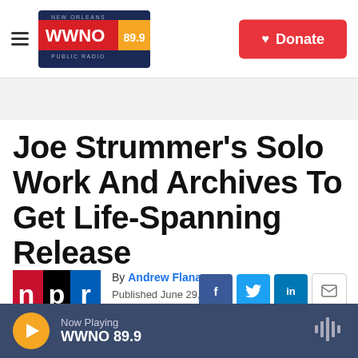WWNO 89.9 New Orleans Public Radio — Donate
Joe Strummer's Solo Work And Archives To Get Life-Spanning Release
By Andrew Flanagan
Published June 29, 2018 at 2:48 PM CDT
[Figure (logo): NPR logo — red, black, blue horizontal bands with lowercase letters n p r]
Now Playing WWNO 89.9